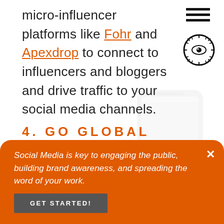micro-influencer platforms like Fohr and Apexdrop to connect to influencers and bloggers and drive traffic to your social media channels.
[Figure (logo): Hamburger menu icon (three horizontal bars) in top right corner]
[Figure (logo): Eye symbol / logo in top right corner below menu icon]
4. GO GLOBAL
Although the coronavirus is a global pandemic, it's affecting some regions worse than the others. For example, Taiwan, South Korea and New Zealand
Social Media is key to engaging the public, building brand awareness, and spreading the word of your work.
GET STARTED!